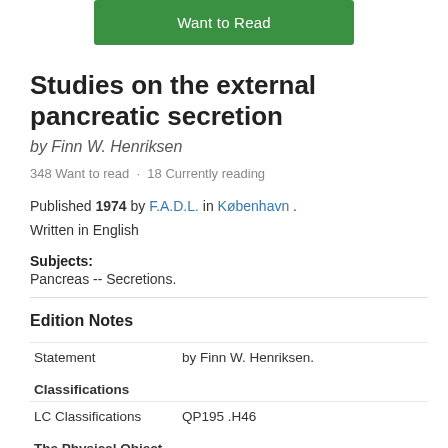[Figure (other): Green 'Want to Read' button]
Studies on the external pancreatic secretion
by Finn W. Henriksen
348 Want to read · 18 Currently reading
Published 1974 by F.A.D.L. in København . Written in English
Subjects: Pancreas -- Secretions.
Edition Notes
| Field | Value |
| --- | --- |
| Statement | by Finn W. Henriksen. |
| Classifications |  |
| LC Classifications | QP195 .H46 |
| The Physical Object |  |
| Pagination | 94 p. : |
Pagination    94 p. :